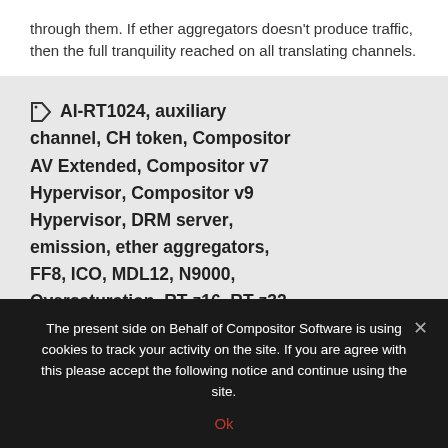through them. If ether aggregators doesn't produce traffic, then the full tranquility reached on all translating channels.
AI-RT1024, auxiliary channel, CH token, Compositor AV Extended, Compositor v7 Hypervisor, Compositor v9 Hypervisor, DRM server, emission, ether aggregators, FF8, ICO, MDL12, N9000, Oversaturation, RT-z16, RT-z32, RT-z8, RTC4k, RTC8k, SE token, TC25, Track emission
The present side on Behalf of Compositor Software is using cookies to track your activity on the site. If you are agree with this please accept the following notice and continue using the site.
Ok